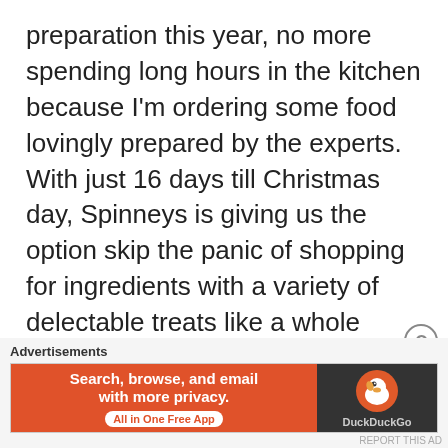preparation this year, no more spending long hours in the kitchen because I'm ordering some food lovingly prepared by the experts. With just 16 days till Christmas day, Spinneys is giving us the option skip the panic of shopping for ingredients with a variety of delectable treats like a whole crown turkey with ...
December 8, 2016 – Comments 3
Recipe
[Figure (other): DuckDuckGo advertisement banner: orange left panel with text 'Search, browse, and email with more privacy. All in One Free App' and dark right panel with DuckDuckGo duck logo and brand name.]